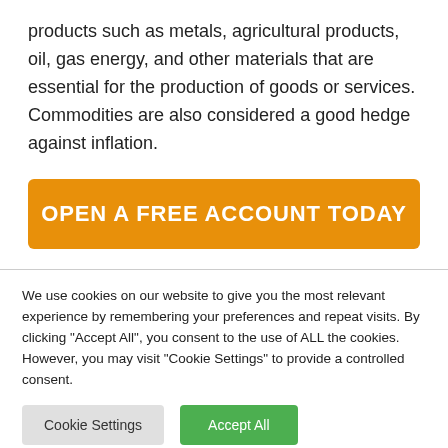products such as metals, agricultural products, oil, gas energy, and other materials that are essential for the production of goods or services. Commodities are also considered a good hedge against inflation.
OPEN A FREE ACCOUNT TODAY
We use cookies on our website to give you the most relevant experience by remembering your preferences and repeat visits. By clicking "Accept All", you consent to the use of ALL the cookies. However, you may visit "Cookie Settings" to provide a controlled consent.
Cookie Settings
Accept All